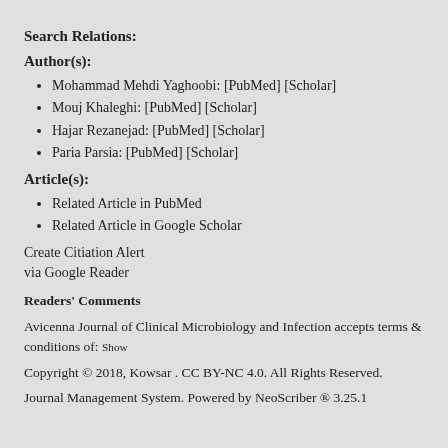Search Relations:
Author(s):
Mohammad Mehdi Yaghoobi: [PubMed] [Scholar]
Mouj Khaleghi: [PubMed] [Scholar]
Hajar Rezanejad: [PubMed] [Scholar]
Paria Parsia: [PubMed] [Scholar]
Article(s):
Related Article in PubMed
Related Article in Google Scholar
Create Citiation Alert
via Google Reader
Readers' Comments
Avicenna Journal of Clinical Microbiology and Infection accepts terms & conditions of: Show
Copyright © 2018, Kowsar . CC BY-NC 4.0. All Rights Reserved.
Journal Management System. Powered by NeoScriber ® 3.25.1